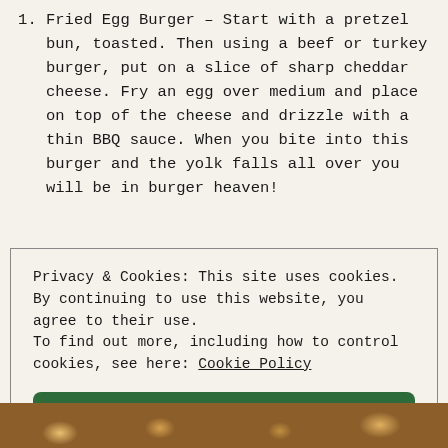Fried Egg Burger – Start with a pretzel bun, toasted. Then using a beef or turkey burger, put on a slice of sharp cheddar cheese. Fry an egg over medium and place on top of the cheese and drizzle with a thin BBQ sauce. When you bite into this burger and the yolk falls all over you will be in burger heaven!
Privacy & Cookies: This site uses cookies. By continuing to use this website, you agree to their use.
To find out more, including how to control cookies, see here: Cookie Policy
Close and accept
[Figure (photo): Bottom strip showing a food photo of a burger or cooked food items]